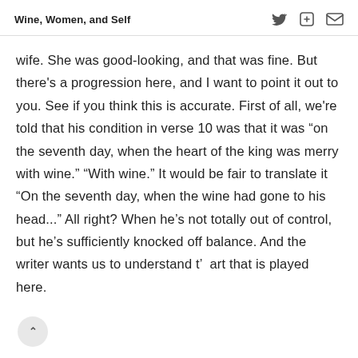Wine, Women, and Self
wife. She was good-looking, and that was fine. But there's a progression here, and I want to point it out to you. See if you think this is accurate. First of all, we're told that his condition in verse 10 was that it was “on the seventh day, when the heart of the king was merry with wine.” “With wine.” It would be fair to translate it “On the seventh day, when the wine had gone to his head...” All right? When he’s not totally out of control, but he’s sufficiently knocked off balance. And the writer wants us to understand t’ art that is played here.